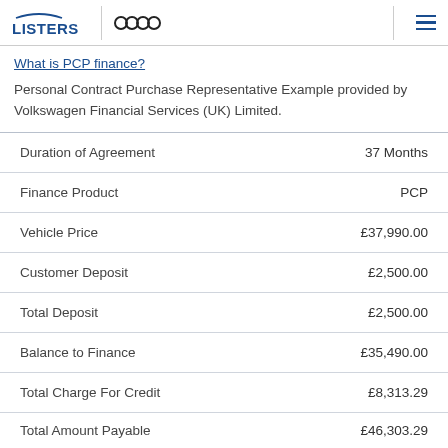LISTERS | Audi
What is PCP finance?
Personal Contract Purchase Representative Example provided by Volkswagen Financial Services (UK) Limited.
| Item | Value |
| --- | --- |
| Duration of Agreement | 37 Months |
| Finance Product | PCP |
| Vehicle Price | £37,990.00 |
| Customer Deposit | £2,500.00 |
| Total Deposit | £2,500.00 |
| Balance to Finance | £35,490.00 |
| Total Charge For Credit | £8,313.29 |
| Total Amount Payable | £46,303.29 |